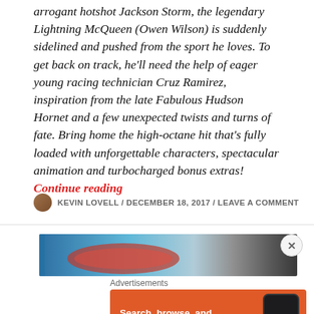arrogant hotshot Jackson Storm, the legendary Lightning McQueen (Owen Wilson) is suddenly sidelined and pushed from the sport he loves. To get back on track, he'll need the help of eager young racing technician Cruz Ramirez, inspiration from the late Fabulous Hudson Hornet and a few unexpected twists and turns of fate. Bring home the high-octane hit that's fully loaded with unforgettable characters, spectacular animation and turbocharged bonus extras! Continue reading
KEVIN LOVELL / DECEMBER 18, 2017 / LEAVE A COMMENT
[Figure (photo): Partial banner image from Cars movie, showing blue sky and car imagery]
Advertisements
[Figure (screenshot): DuckDuckGo advertisement: Search, browse, and email with more privacy. All in One Free App. Shows DuckDuckGo logo and phone mockup on orange background.]